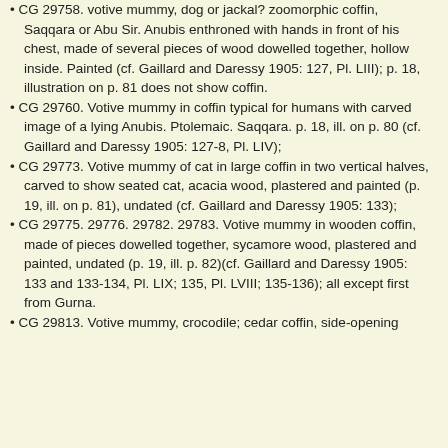• CG 29758. votive mummy, dog or jackal? zoomorphic coffin, Saqqara or Abu Sir. Anubis enthroned with hands in front of his chest, made of several pieces of wood dowelled together, hollow inside. Painted (cf. Gaillard and Daressy 1905: 127, Pl. LIII); p. 18, illustration on p. 81 does not show coffin.
• CG 29760. Votive mummy in coffin typical for humans with carved image of a lying Anubis. Ptolemaic. Saqqara. p. 18, ill. on p. 80 (cf. Gaillard and Daressy 1905: 127-8, Pl. LIV);
• CG 29773. Votive mummy of cat in large coffin in two vertical halves, carved to show seated cat, acacia wood, plastered and painted (p. 19, ill. on p. 81), undated (cf. Gaillard and Daressy 1905: 133);
• CG 29775. 29776. 29782. 29783. Votive mummy in wooden coffin, made of pieces dowelled together, sycamore wood, plastered and painted, undated (p. 19, ill. p. 82)(cf. Gaillard and Daressy 1905: 133 and 133-134, Pl. LIX; 135, Pl. LVIII; 135-136); all except first from Gurna.
• CG 29813. Votive mummy, crocodile; cedar coffin, side-opening